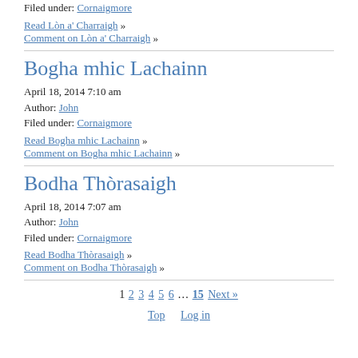Filed under: Cornaigmore
Read Lòn a' Charraigh »
Comment on Lòn a' Charraigh »
Bogha mhic Lachainn
April 18, 2014 7:10 am
Author: John
Filed under: Cornaigmore
Read Bogha mhic Lachainn »
Comment on Bogha mhic Lachainn »
Bodha Thòrasaigh
April 18, 2014 7:07 am
Author: John
Filed under: Cornaigmore
Read Bodha Thòrasaigh »
Comment on Bodha Thòrasaigh »
1 2 3 4 5 6 … 15 Next »
Top   Log in